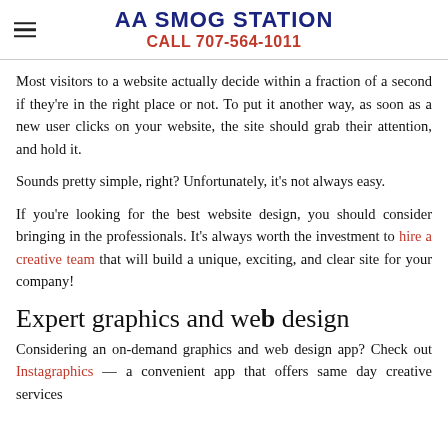AA SMOG STATION
CALL 707-564-1011
Most visitors to a website actually decide within a fraction of a second if they’re in the right place or not. To put it another way, as soon as a new user clicks on your website, the site should grab their attention, and hold it.
Sounds pretty simple, right? Unfortunately, it’s not always easy.
If you’re looking for the best website design, you should consider bringing in the professionals. It’s always worth the investment to hire a creative team that will build a unique, exciting, and clear site for your company!
Expert graphics and web design
Considering an on-demand graphics and web design app? Check out Instragraphics — a convenient app that offers same day creative services...